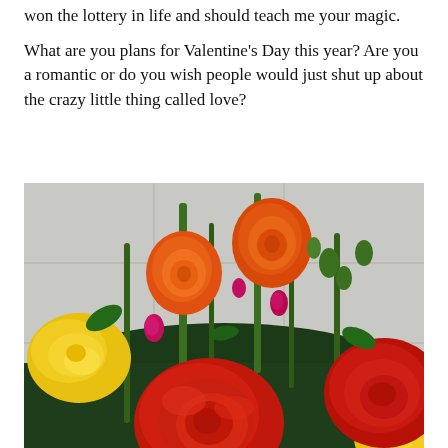won the lottery in life and should teach me your magic.
What are you plans for Valentine’s Day this year? Are you a romantic or do you wish people would just shut up about the crazy little thing called love?
[Figure (photo): Close-up photograph of a bouquet of colorful roses and flowers including red, orange, yellow, and pink roses with green stems and buds against a light background.]